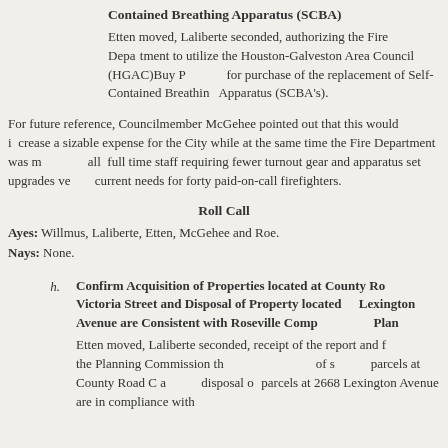Contained Breathing Apparatus (SCBA)
Etten moved, Laliberte seconded, authorizing the Fire Department to utilize the Houston-Galveston Area Council (HGAC)Buy Program for purchase of the replacement of Self-Contained Breathing Apparatus (SCBA's).
For future reference, Councilmember McGehee pointed out that this would incur a sizable expense for the City while at the same time the Fire Department was moving to all full time staff requiring fewer turnout gear and apparatus set upgrades versus current needs for forty paid-on-call firefighters.
Roll Call
Ayes: Willmus, Laliberte, Etten, McGehee and Roe.
Nays: None.
h. Confirm Acquisition of Properties located at County Road, Victoria Street and Disposal of Property located at Lexington Avenue are Consistent with Roseville Comprehensive Plan
Etten moved, Laliberte seconded, receipt of the report and finding of the Planning Commission that the acquisition of surplus parcels at County Road C and... disposal of parcels at 2668 Lexington Avenue are in compliance with...